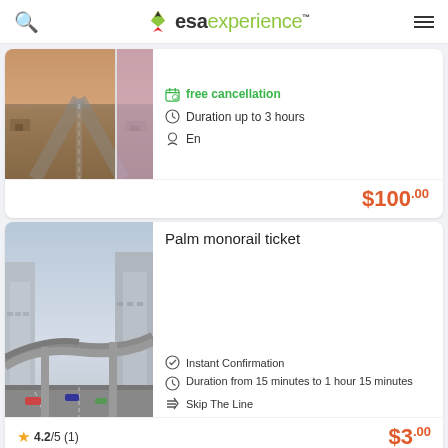esa experience
[Figure (photo): Aerial view of Dubai roads and landscape]
free cancellation
Duration up to 3 hours
En
$100.00
Palm monorail ticket
[Figure (photo): Highway interchange in Dubai with monorail tracks]
Instant Confirmation
Duration from 15 minutes to 1 hour 15 minutes
Skip The Line
4.2/5 (1)
$3.00